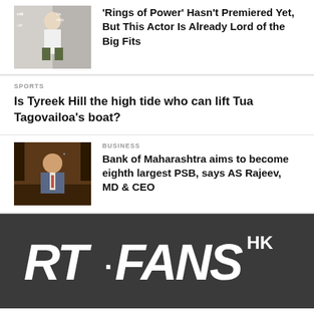[Figure (photo): Person in stylish outfit at a fashion event with Variety branding in background]
'Rings of Power' Hasn't Premiered Yet, But This Actor Is Already Lord of the Big Fits
SPORTS
Is Tyreek Hill the high tide who can lift Tua Tagovailoa's boat?
[Figure (photo): Business executive in suit seated at desk]
BUSINESS
Bank of Maharashtra aims to become eighth largest PSB, says AS Rajeev, MD & CEO
[Figure (logo): RT·FANS HK logo in white on dark grey background]